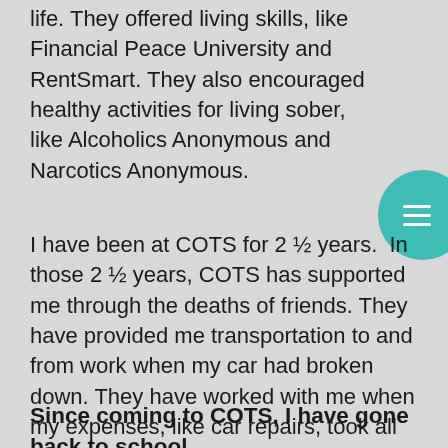life. They offered living skills, like Financial Peace University and RentSmart. They also encouraged healthy activities for living sober, like Alcoholics Anonymous and Narcotics Anonymous.
I have been at COTS for 2 ½ years. In those 2 ½ years, COTS has supported me through the deaths of friends. They have provided me transportation to and from work when my car had broken down. They have worked with me when my expenses, like car repairs, took all of my money. They have provided me with clothes vouchers and Christmas presents at a time in my life when I felt like no one cared.
Since coming to COTS, I have gone back to school